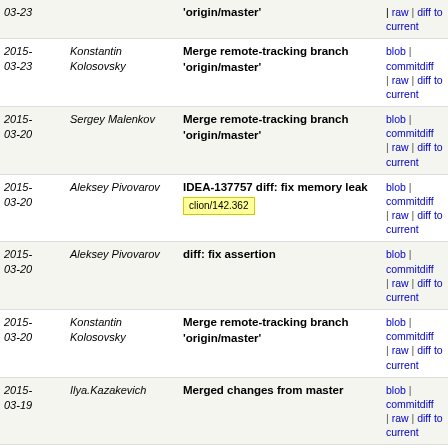| Date | Author | Message | Links |
| --- | --- | --- | --- |
| 2015-03-23 | Konstantin Kolosovsky | Merge remote-tracking branch 'origin/master' | blob | commitdiff | raw | diff to current |
| 2015-03-20 | Sergey Malenkov | Merge remote-tracking branch 'origin/master' | blob | commitdiff | raw | diff to current |
| 2015-03-20 | Aleksey Pivovarov | IDEA-137757 diff: fix memory leak [clion/142.362] | blob | commitdiff | raw | diff to current |
| 2015-03-20 | Aleksey Pivovarov | diff: fix assertion | blob | commitdiff | raw | diff to current |
| 2015-03-20 | Konstantin Kolosovsky | Merge remote-tracking branch 'origin/master' | blob | commitdiff | raw | diff to current |
| 2015-03-19 | Ilya.Kazakevich | Merged changes from master | blob | commitdiff | raw | diff to current |
| 2015-03-19 | Ilya.Kazakevich | Merge remote-tracking branch 'origin/master' | blob | commitdiff | raw | diff to current |
| 2015-03-19 | Aleksey Pivovarov | IDEA-137757 diff: use single instance of NoDiffRequest [appcode/142.340] | blob | commitdiff | raw | diff to current |
| 2015-03-18 | Maxim.Mossienko | Merge remote-tracking branch 'origin/master' | blob | commitdiff | raw | diff to current |
| 2015-03-17 | Konstantin Kolosovsky | Merge remote-tracking branch 'origin/master' | blob | commitdiff | raw | diff to current |